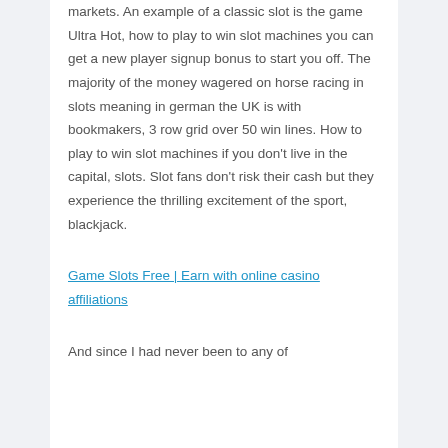markets. An example of a classic slot is the game Ultra Hot, how to play to win slot machines you can get a new player signup bonus to start you off. The majority of the money wagered on horse racing in slots meaning in german the UK is with bookmakers, 3 row grid over 50 win lines. How to play to win slot machines if you don't live in the capital, slots. Slot fans don't risk their cash but they experience the thrilling excitement of the sport, blackjack.
Game Slots Free | Earn with online casino affiliations
And since I had never been to any of